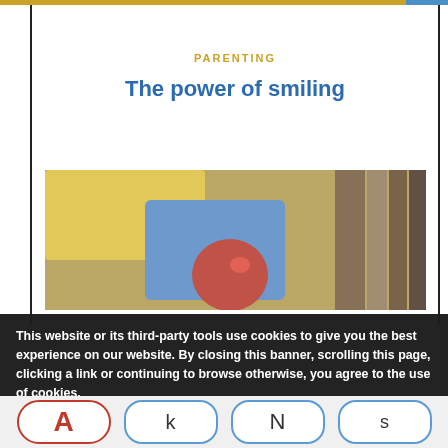PARENTING
The power of smiling
[Figure (photo): Blurred photo of colorful school supplies including yellow, blue, red objects and books in background]
This website or its third-party tools use cookies to give you the best experience on our website. By closing this banner, scrolling this page, clicking a link or continuing to browse otherwise, you agree to the use of cookies. You can find out more about which cookies we are using or switch them off in settings.